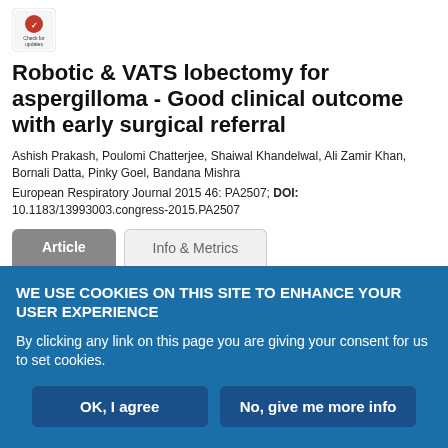[Figure (logo): Check for updates badge/logo in top left corner]
Robotic & VATS lobectomy for aspergilloma - Good clinical outcome with early surgical referral
Ashish Prakash, Poulomi Chatterjee, Shaiwal Khandelwal, Ali Zamir Khan, Bornali Datta, Pinky Goel, Bandana Mishra
European Respiratory Journal 2015 46: PA2507; DOI: 10.1183/13993003.congress-2015.PA2507
Article | Info & Metrics (tabs)
WE USE COOKIES ON THIS SITE TO ENHANCE YOUR USER EXPERIENCE

By clicking any link on this page you are giving your consent for us to set cookies.
OK, I agree
No, give me more info